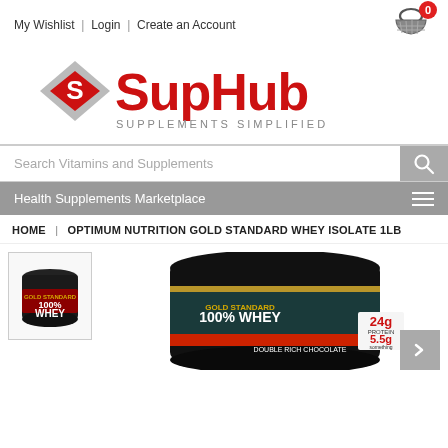My Wishlist | Login | Create an Account
[Figure (logo): SupHub Supplements Simplified logo with red diamond S icon and shopping cart with 0 badge]
Search Vitamins and Supplements
Health Supplements Marketplace
HOME | OPTIMUM NUTRITION GOLD STANDARD WHEY ISOLATE 1LB
[Figure (photo): Optimum Nutrition Gold Standard 100% Whey product thumbnail - small tub with dark label]
[Figure (photo): Optimum Nutrition Gold Standard Whey Isolate 1LB large product image - Double Rich Chocolate flavor, black tub with 24g protein and 5.5g label details]